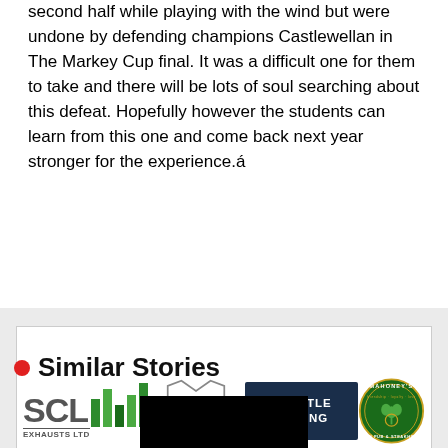second half while playing with the wind but were undone by defending champions Castlewellan in The Markey Cup final. It was a difficult one for them to take and there will be lots of soul searching about this defeat. Hopefully however the students can learn from this one and come back next year stronger for the experience.á
[Figure (logo): Advertisement banner containing four sponsor logos: SCL Exhausts Ltd, McNeil Construction London, Castle Paving, and Mahoney's Irish Pub & Steakhouse]
Similar Stories
[Figure (photo): Black thumbnail image for a similar story]